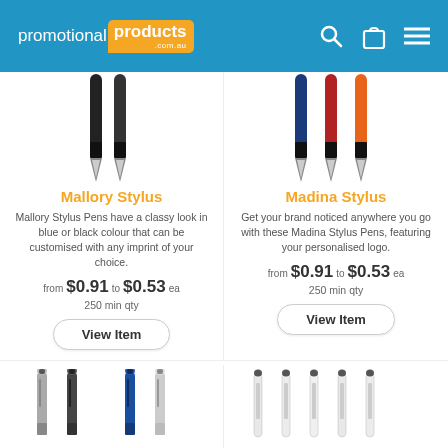promotional products .com.au
[Figure (illustration): Two black stylus pens pointing downward]
[Figure (illustration): Three stylus pens (navy, red, orange) pointing downward]
Mallory Stylus
Madina Stylus
Mallory Stylus Pens have a classy look in blue or black colour that can be customised with any imprint of your choice.
Get your brand noticed anywhere you go with these Madina Stylus Pens, featuring your personalised logo.
from $0.91 to $0.53 ea
250 min qty
from $0.91 to $0.53 ea
250 min qty
View Item
View Item
[Figure (illustration): Four stylus pens in gray, black, and blue colors pointing upward]
[Figure (illustration): Five white/silver slim stylus pens pointing upward]